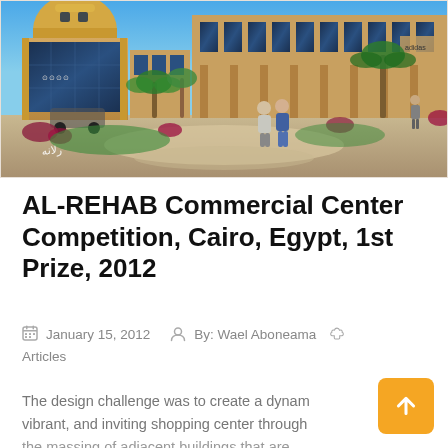[Figure (photo): Architectural rendering of AL-REHAB Commercial Center in Cairo, Egypt. Shows a large commercial complex with a dome-topped building on the left with glass facade, sandy-colored buildings on the right, palm trees, and people walking in a landscaped plaza area under a blue sky.]
AL-REHAB Commercial Center Competition, Cairo, Egypt, 1st Prize, 2012
January 15, 2012  By: Wael Aboneama  Articles
The design challenge was to create a dynamic, vibrant, and inviting shopping center through the massing of adjacent buildings that are...